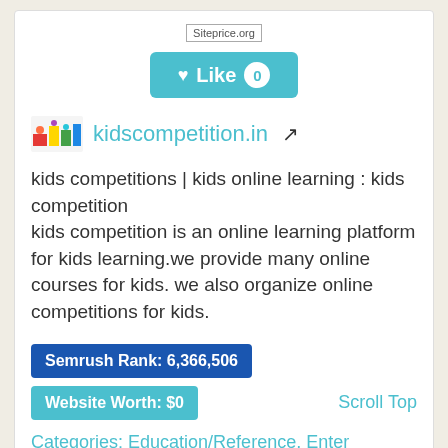Siteprice.org
[Figure (other): Like button with heart icon showing count 0]
kidscompetition.in
kids competitions | kids online learning : kids competition
kids competition is an online learning platform for kids learning.we provide many online courses for kids. we also organize online competitions for kids.
Semrush Rank: 6,366,506   Website Worth: $0
Categories: Education/Reference, Enter
Scroll Top
Is it similar?   Yes  0    No  0